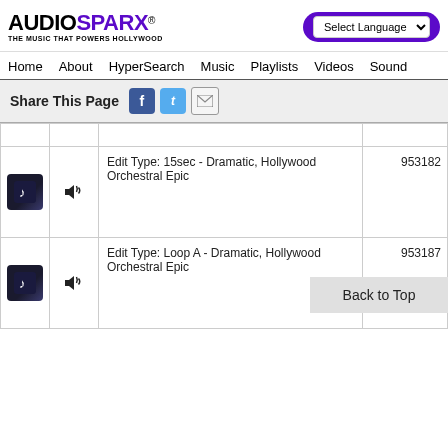[Figure (logo): AudioSparx logo with tagline 'The Music That Powers Hollywood']
Select Language dropdown and search bar
Home  About  HyperSearch  Music  Playlists  Videos  Sound
Share This Page
|  |  | Description | ID |
| --- | --- | --- | --- |
|  |  |  |  |
| music-icon | speaker-icon | Edit Type: 15sec - Dramatic, Hollywood Orchestral Epic | 953182 |
| music-icon | speaker-icon | Edit Type: Loop A - Dramatic, Hollywood Orchestral Epic | 953187 |
Back to Top